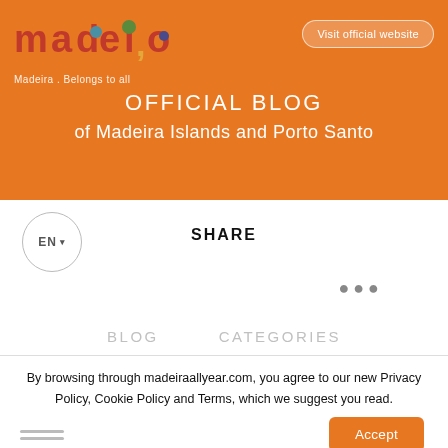[Figure (logo): Madeira tourism logo with colorful geometric shapes spelling 'madei,o' and tagline 'Madeira. Belongs to all']
Visit official website
OFFICIAL BLOG of Madeira Islands and Porto Santo
EN ▾
SHARE
•••
BLOG   CATEGORIES
By browsing through madeiraallyear.com, you agree to our new Privacy Policy, Cookie Policy and Terms, which we suggest you read.
Accept